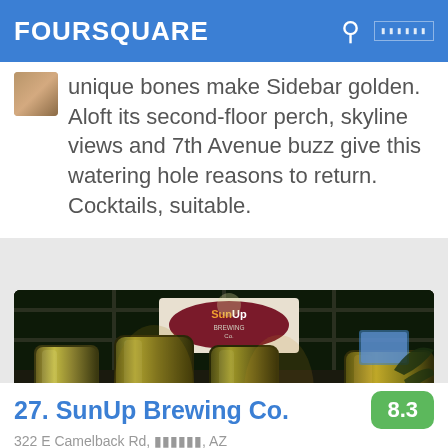FOURSQUARE
unique bones make Sidebar golden. Aloft its second-floor perch, skyline views and 7th Avenue buzz give this watering hole reasons to return. Cocktails, suitable.
[Figure (photo): Photo of SunUp Brewing Co. interior showing the SunUp Brewing Co. sign and large cylindrical brewing tanks/fermenters lit with warm golden light against a dark background.]
27. SunUp Brewing Co.
322 E Camelback Rd, [redacted], AZ